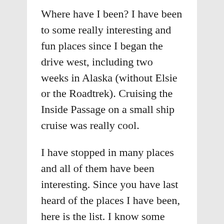Where have I been? I have been to some really interesting and fun places since I began the drive west, including two weeks in Alaska (without Elsie or the Roadtrek). Cruising the Inside Passage on a small ship cruise was really cool.
I have stopped in many places and all of them have been interesting. Since you have last heard of the places I have been, here is the list. I know some may be a repeat, please be patient.